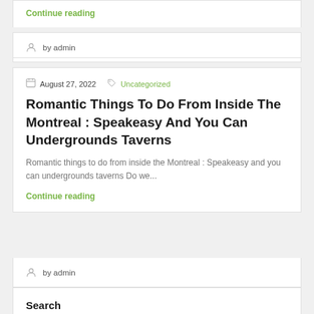Continue reading
by admin
August 27, 2022   Uncategorized
Romantic Things To Do From Inside The Montreal : Speakeasy And You Can Undergrounds Taverns
Romantic things to do from inside the Montreal : Speakeasy and you can undergrounds taverns Do we...
Continue reading
by admin
Search